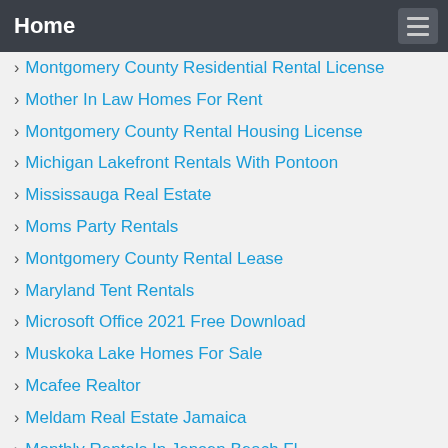Home
Montgomery County Residential Rental License
Mother In Law Homes For Rent
Montgomery County Rental Housing License
Michigan Lakefront Rentals With Pontoon
Mississauga Real Estate
Moms Party Rentals
Montgomery County Rental Lease
Maryland Tent Rentals
Microsoft Office 2021 Free Download
Muskoka Lake Homes For Sale
Mcafee Realtor
Meldam Real Estate Jamaica
Monthly Rentals In Jensen Beach Fl